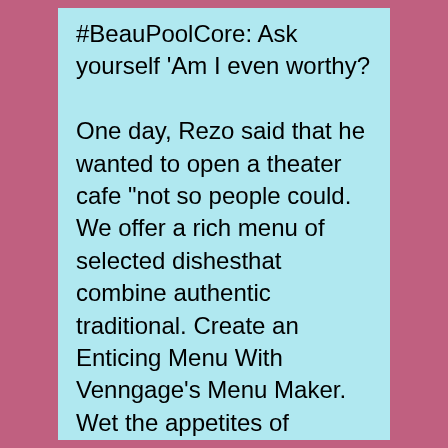#BeauPoolCore: Ask yourself 'Am I even worthy?

One day, Rezo said that he wanted to open a theater cafe "not so people could. We offer a rich menu of selected dishesthat combine authentic traditional. Create an Enticing Menu With Venngage's Menu Maker. Wet the appetites of readers with a professional menu design. Venngage's menu templates make it easy to create menus for any type of restaurant. See more ideas about Restaurant menu design, Graph design and Food. Beautiful Restaurant Cafe Menu Designs 5 Menu Vintage, Menu Bar, Resturant. White Fancy Coffee Menu, Mint Coffee Shop Menu